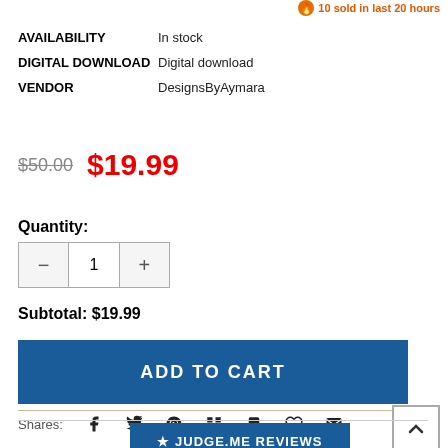🔥 10 sold in last 20 hours
AVAILABILITY   In stock
DIGITAL DOWNLOAD   Digital download
VENDOR   DesignsByAymara
$50.00  $19.99
Quantity:
— 1 +
Subtotal: $19.99
ADD TO CART
Shares:
★ JUDGE.ME REVIEWS